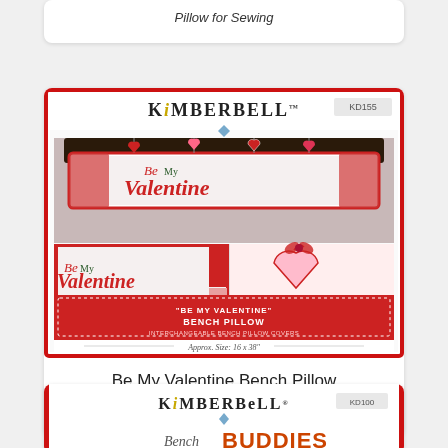Pillow for Sewing
[Figure (photo): Kimberbell 'Be My Valentine' Bench Pillow product packaging photo showing valentines hearts and 'Be My Valentine' embroidered bench pillow, KD155, Approx. Size: 16 x 38 inches]
Be My Valentine Bench Pillow
$9.00
[Figure (photo): Kimberbell Bench Buddies product packaging, KD100, partial view at bottom of page]